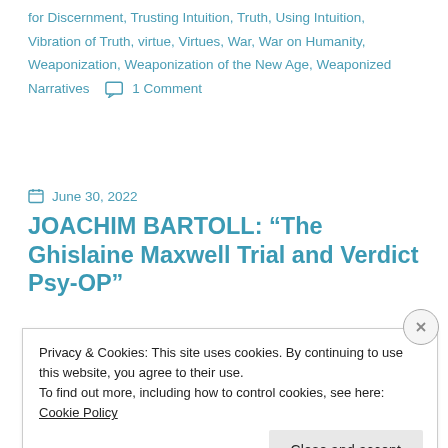for Discernment, Trusting Intuition, Truth, Using Intuition, Vibration of Truth, virtue, Virtues, War, War on Humanity, Weaponization, Weaponization of the New Age, Weaponized Narratives   💬 1 Comment
June 30, 2022
JOACHIM BARTOLL: “The Ghislaine Maxwell Trial and Verdict Psy-OP”
Privacy & Cookies: This site uses cookies. By continuing to use this website, you agree to their use.
To find out more, including how to control cookies, see here: Cookie Policy